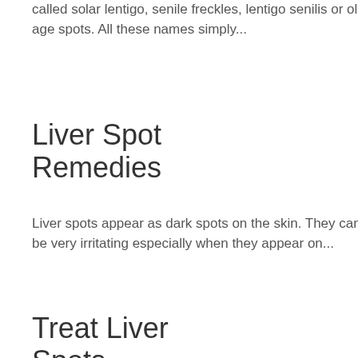called solar lentigo, senile freckles, lentigo senilis or old age spots. All these names simply...
Liver Spot Remedies
Liver spots appear as dark spots on the skin. They can be very irritating especially when they appear on...
Treat Liver Spots